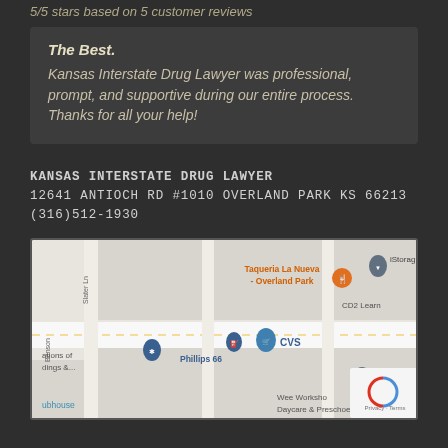5/5 stars based on 5 customer reviews
The Best.
Kansas Interstate Drug Lawyer was professional, prompt, and supportive during our entire process. Thanks for all your help!
KANSAS INTERSTATE DRUG LAWYER
12641 ANTIOCH RD #1010 OVERLAND PARK KS 66213
(316)512-1930
[Figure (map): Google Maps screenshot showing the location near 12641 Antioch Rd, Overland Park, KS. Nearby landmarks include Taqueria La Nueva - Overland Park, iStorage, CD2 Learn, Phillips 66, CVS, Wee Workshop, Benson, Slater Ln streets visible.]